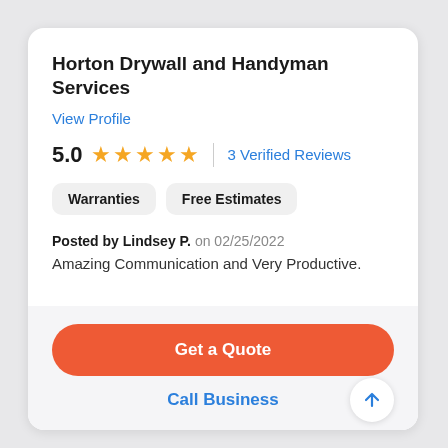Horton Drywall and Handyman Services
View Profile
5.0  ★★★★★  | 3 Verified Reviews
Warranties
Free Estimates
Posted by Lindsey P. on 02/25/2022
Amazing Communication and Very Productive.
Get a Quote
Call Business